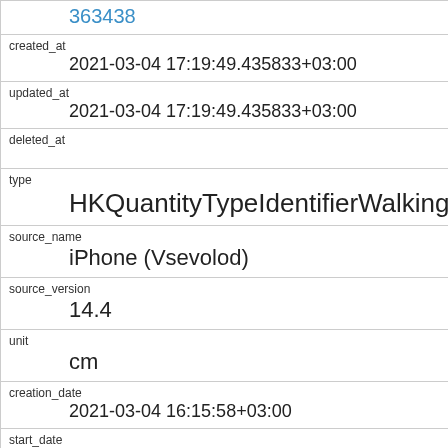| 363438 |
| created_at | 2021-03-04 17:19:49.435833+03:00 |
| updated_at | 2021-03-04 17:19:49.435833+03:00 |
| deleted_at |  |
| type | HKQuantityTypeIdentifierWalkingStepLength |
| source_name | iPhone (Vsevolod) |
| source_version | 14.4 |
| unit | cm |
| creation_date | 2021-03-04 16:15:58+03:00 |
| start_date | 2021-03-04 16:13:14+03:00 |
| end_date | 2021-03-04 16:13:25+03:00 |